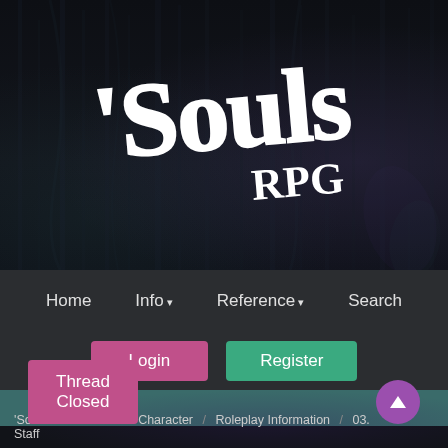[Figure (logo): 'Souls RPG logo — white hand-drawn text on dark forest background]
Home   Info ▾   Reference ▾   Search
Login   Register
New to 'Souls? Start here!
'Souls RPG / Out of Character / Roleplay Information / 03. Staff
Thread Closed